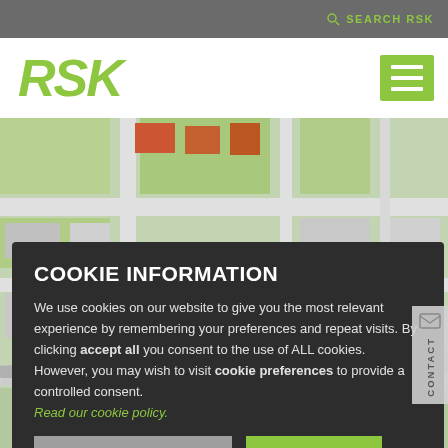SEARCH RSK
[Figure (logo): RSK company logo in green italic bold text]
[Figure (illustration): Hamburger menu icon - three white horizontal lines on green background]
[Figure (map): Aerial/satellite map view of urban area with roads, buildings, green spaces]
COOKIE INFORMATION
We use cookies on our website to give you the most relevant experience by remembering your preferences and repeat visits. By clicking accept all you consent to the use of ALL cookies. However, you may wish to visit cookie preferences to provide a controlled consent. Read our cookie policy.
COOKIE PREFERENCES
ACCEPT ALL